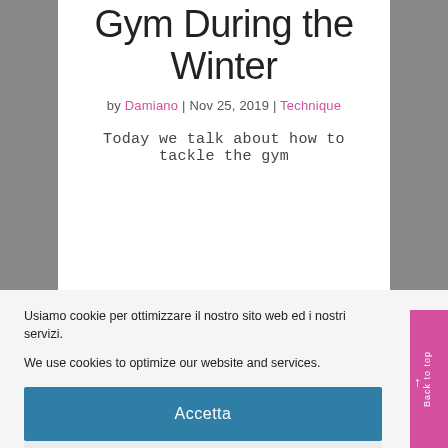Gym During the Winter
by Damiano | Nov 25, 2019 | Technique
Today we talk about how to tackle the gym
Usiamo cookie per ottimizzare il nostro sito web ed i nostri servizi.
We use cookies to optimize our website and services.
Accetta
Nega
Preferenze
Cookie Policy
Back to top